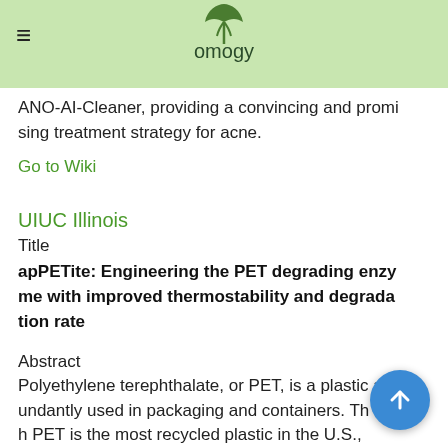omogy
ANO-AI-Cleaner, providing a convincing and promising treatment strategy for acne.
Go to Wiki
UIUC Illinois
Title
apPETite: Engineering the PET degrading enzyme with improved thermostability and degradation rate
Abstract
Polyethylene terephthalate, or PET, is a plastic abundantly used in packaging and containers. Though PET is the most recycled plastic in the U.S., million tons are produced annually and its current r